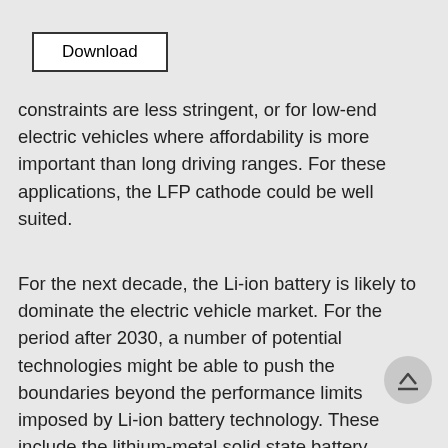[Figure (other): Download button with rectangular border]
constraints are less stringent, or for low-end electric vehicles where affordability is more important than long driving ranges. For these applications, the LFP cathode could be well suited.
For the next decade, the Li-ion battery is likely to dominate the electric vehicle market. For the period after 2030, a number of potential technologies might be able to push the boundaries beyond the performance limits imposed by Li-ion battery technology. These include the lithium-metal solid state battery, lithium-sulphur, sodium-ion or even lithium-air, which could represent an improvement fro ion on indicators such as cost, density, cycle e, and benefits from more widely available